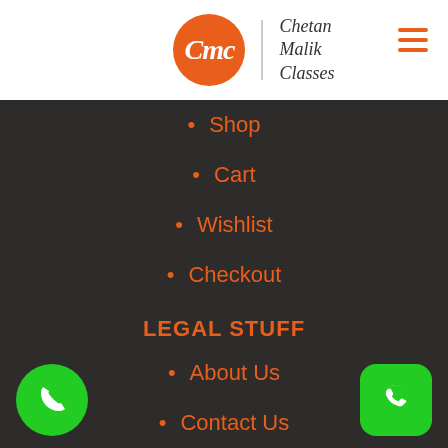[Figure (logo): CMC - Chetan Malik Classes logo with orange circle and hamburger menu icon]
Shop
Cart
Wishlist
Checkout
LEGAL STUFF
About Us
Contact Us
Privacy Policy
Copyrights
Return Policy
SOCIAL LINKS
YouTube